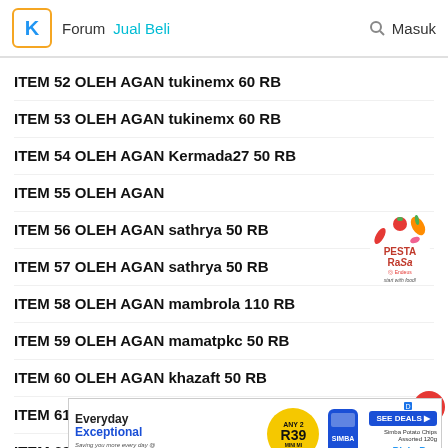Forum  Jual Beli  Masuk
ITEM 52 OLEH AGAN tukinemx 60 RB
ITEM 53 OLEH AGAN tukinemx 60 RB
ITEM 54 OLEH AGAN Kermada27 50 RB
ITEM 55 OLEH AGAN
ITEM 56 OLEH AGAN sathrya 50 RB
ITEM 57 OLEH AGAN sathrya 50 RB
ITEM 58 OLEH AGAN mambrola 110 RB
ITEM 59 OLEH AGAN mamatpkc 50 RB
ITEM 60 OLEH AGAN khazaft 50 RB
ITEM 61 OLEH AGAN mnetok 110 RB
ITEM 62
[Figure (logo): Pesta Rasa logo — colorful food festival logo with text 'PESTA RASA' and 'Start with food!']
[Figure (screenshot): Advertisement banner: Everyday Exceptional — Pick n Pay deals, ANY 2 R39, Simba Potato Chips Assorted 120g, SEE DEALS button]